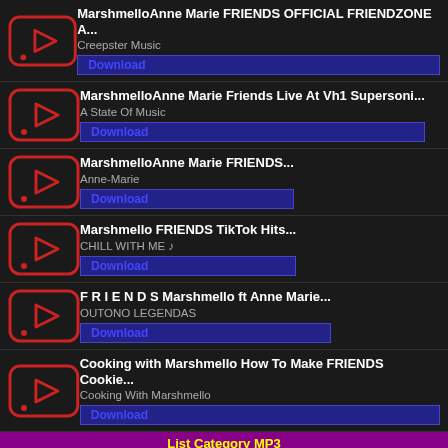MarshmelloAnne Marie FRIENDS OFFICIAL FRIENDZONE A...
Creepster Music
Download
MarshmelloAnne Marie Friends Live At Vh1 Supersoni...
A State Of Music
Download
MarshmelloAnne Marie FRIENDS...
Anne-Marie
Download
Marshmello FRIENDS TikTok Hits...
CHILL WITH ME ♪
Download
F R I E N D S Marshmello ft Anne Marie...
OUTONO LEGENDAS
Download
Cooking with Marshmello How To Make FRIENDS Cookie...
Cooking With Marshmello
Download
List Category MP3